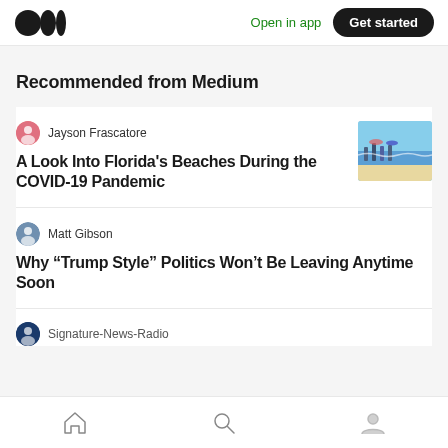Open in app | Get started
Recommended from Medium
Jayson Frascatore
A Look Into Florida's Beaches During the COVID-19 Pandemic
[Figure (photo): Beach scene with people during COVID-19 pandemic]
Matt Gibson
Why “Trump Style” Politics Won’t Be Leaving Anytime Soon
Signature-News-Radio